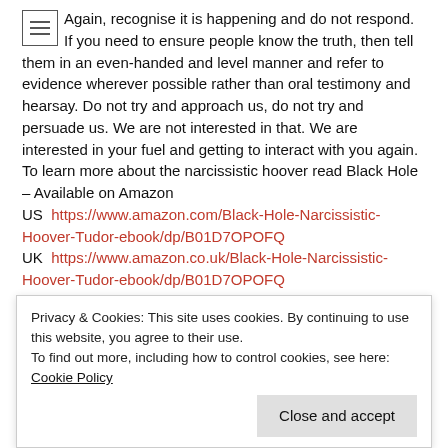Again, recognise it is happening and do not respond. If you need to ensure people know the truth, then tell them in an even-handed and level manner and refer to evidence wherever possible rather than oral testimony and hearsay. Do not try and approach us, do not try and persuade us. We are not interested in that. We are interested in your fuel and getting to interact with you again. To learn more about the narcissistic hoover read Black Hole – Available on Amazon
US https://www.amazon.com/Black-Hole-Narcissistic-Hoover-Tudor-ebook/dp/B01D7OPOFQ
UK https://www.amazon.co.uk/Black-Hole-Narcissistic-Hoover-Tudor-ebook/dp/B01D7OPOFQ
CAN https://www.amazon.ca/Black-Hole-Narcissistic-Hoover-Tudor-ebook/dp/B01D7OPOFQ
Privacy & Cookies: This site uses cookies. By continuing to use this website, you agree to their use. To find out more, including how to control cookies, see here: Cookie Policy
Close and accept